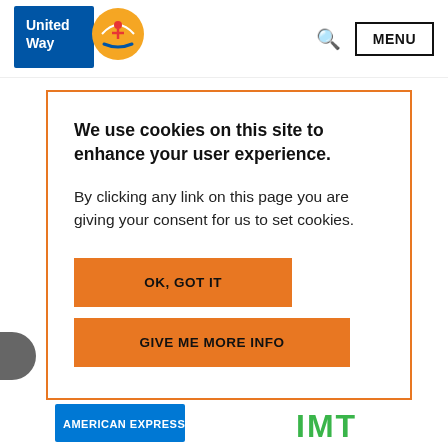[Figure (logo): United Way logo with blue text block and orange circular emblem with person figure and hands]
MENU
We use cookies on this site to enhance your user experience.
By clicking any link on this page you are giving your consent for us to set cookies.
OK, GOT IT
GIVE ME MORE INFO
[Figure (logo): American Express logo partial at bottom]
[Figure (logo): IMT logo in green text at bottom right]